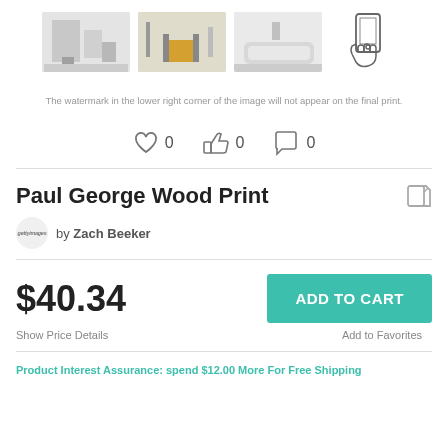[Figure (photo): Four thumbnail images: room with art on wall, room with yellow chair, room with white sofa, and hand holding phone icon]
The watermark in the lower right corner of the image will not appear on the final print.
[Figure (infographic): Social engagement icons: heart with 0, thumbs up with 0, comment bubble with 0]
Paul George Wood Print
by Zach Beeker
$40.34
Show Price Details
ADD TO CART
Add to Favorites